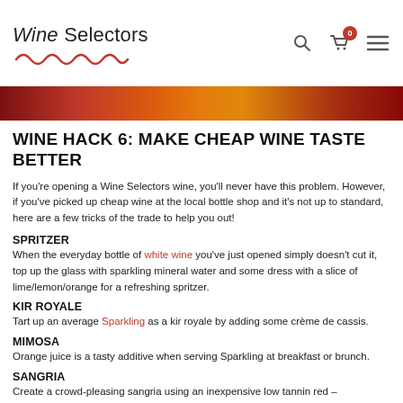Wine Selectors
[Figure (photo): Close-up banner image of colorful fruits/wine in warm red, orange, and amber tones]
WINE HACK 6: MAKE CHEAP WINE TASTE BETTER
If you're opening a Wine Selectors wine, you'll never have this problem. However, if you've picked up cheap wine at the local bottle shop and it's not up to standard, here are a few tricks of the trade to help you out!
SPRITZER
When the everyday bottle of white wine you've just opened simply doesn't cut it, top up the glass with sparkling mineral water and some dress with a slice of lime/lemon/orange for a refreshing spritzer.
KIR ROYALE
Tart up an average Sparkling as a kir royale by adding some crème de cassis.
MIMOSA
Orange juice is a tasty additive when serving Sparkling at breakfast or brunch.
SANGRIA
Create a crowd-pleasing sangria using an inexpensive low tannin red –